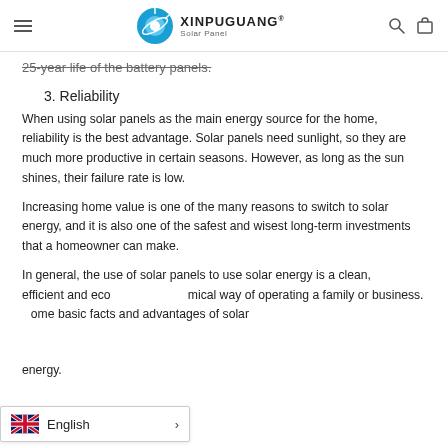XINPUGUANG Solar Panel
25-year life of the battery panels.
3. Reliability
When using solar panels as the main energy source for the home, reliability is the best advantage. Solar panels need sunlight, so they are much more productive in certain seasons. However, as long as the sun shines, their failure rate is low.
Increasing home value is one of the many reasons to switch to solar energy, and it is also one of the safest and wisest long-term investments that a homeowner can make.
In general, the use of solar panels to use solar energy is a clean, efficient and economical way of operating a family or business. Here are some basic facts and advantages of solar energy.
[Figure (other): English language selector button with UK flag icon]